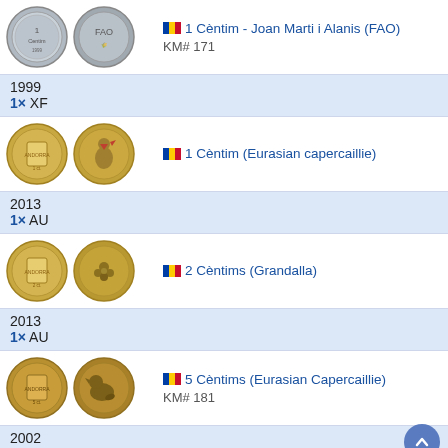[Figure (photo): Two sides of a 1 Cèntim Joan Marti i Alanis FAO coin (1999), silver/grey colored]
🇦🇩 1 Cèntim - Joan Marti i Alanis (FAO)
KM# 171
1999
1× XF
[Figure (photo): Two sides of a 1 Cèntim Eurasian capercaillie coin (2013), gold colored with rooster/bird]
🇦🇩 1 Cèntim (Eurasian capercaillie)
2013
1× AU
[Figure (photo): Two sides of a 2 Cèntims Grandalla coin (2013), gold colored with floral motif]
🇦🇩 2 Cèntims (Grandalla)
2013
1× AU
[Figure (photo): Two sides of a 5 Cèntims Eurasian Capercaillie coin (2002), gold/bronze colored]
🇦🇩 5 Cèntims (Eurasian Capercaillie)
KM# 181
2002
1× XF